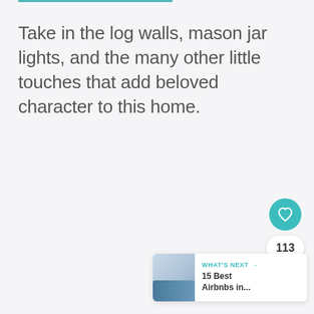Take in the log walls, mason jar lights, and the many other little touches that add beloved character to this home.
[Figure (infographic): UI widget panel on right side: heart/like button (teal circle with white heart icon), like count '113', share button (white rounded rectangle with share icon). Below is a 'WHAT'S NEXT' card showing a thumbnail image and text '15 Best Airbnbs in...']